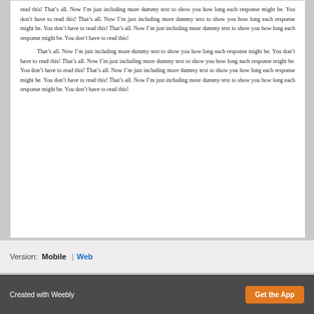read this! That’s all. Now I’m just including more dummy text to show you how long each response might be. You don’t have to read this! That’s all. Now I’m just including more dummy text to show you how long each response might be. You don’t have to read this! That’s all. Now I’m just including more dummy text to show you how long each response might be. You don’t have to read this!
That’s all. Now I’m just including more dummy text to show you how long each response might be. You don’t have to read this! That’s all. Now I’m just including more dummy text to show you how long each response might be. You don’t have to read this! That’s all. Now I’m just including more dummy text to show you how long each response might be. You don’t have to read this! That’s all. Now I’m just including more dummy text to show you how long each response might be. You don’t have to read this!
Version:  Mobile  |  Web
Created with Weebly    Get the App